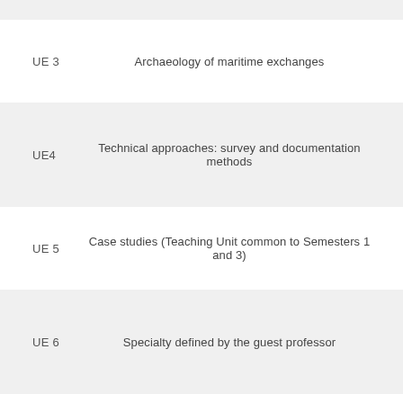UE 3 — Archaeology of maritime exchanges
UE4 — Technical approaches: survey and documentation methods
UE 5 — Case studies (Teaching Unit common to Semesters 1 and 3)
UE 6 — Specialty defined by the guest professor
SEMESTER 4: JANUARY – JUNE